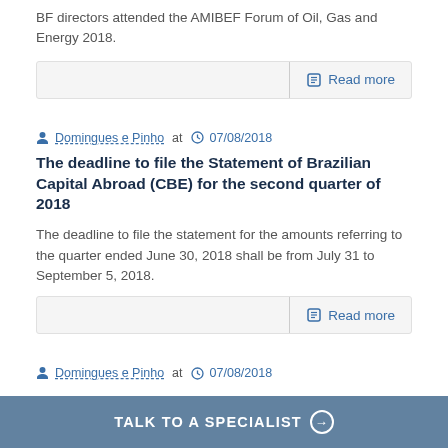BF directors attended the AMIBEF Forum of Oil, Gas and Energy 2018.
Read more
Domingues e Pinho at 07/08/2018
The deadline to file the Statement of Brazilian Capital Abroad (CBE) for the second quarter of 2018
The deadline to file the statement for the amounts referring to the quarter ended June 30, 2018 shall be from July 31 to September 5, 2018.
Read more
Domingues e Pinho at 07/08/2018
TALK TO A SPECIALIST